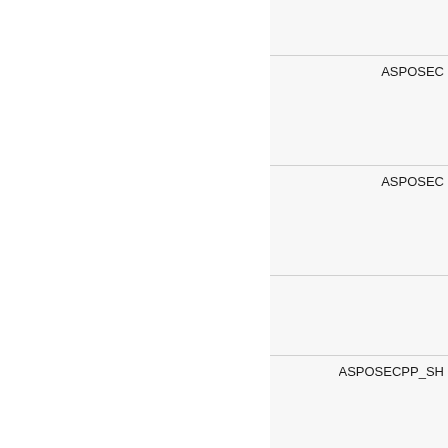|  | ASPOSEC |
|  | ASPOSEC |
|  |  |
|  |  |
|  | ASPOSECPP_SH |